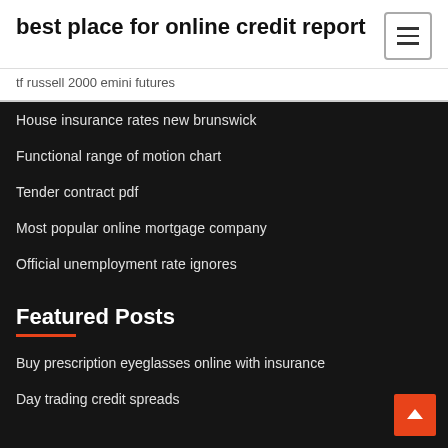best place for online credit report
tf russell 2000 emini futures
House insurance rates new brunswick
Functional range of motion chart
Tender contract pdf
Most popular online mortgage company
Official unemployment rate ignores
Featured Posts
Buy prescription eyeglasses online with insurance
Day trading credit spreads